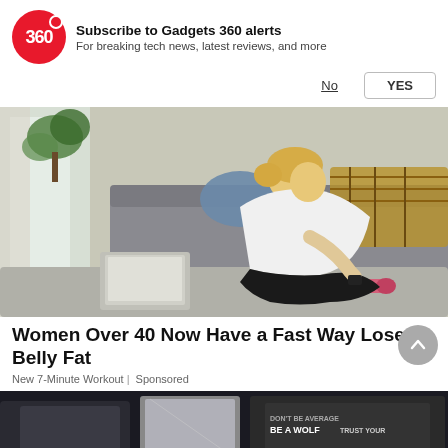[Figure (logo): Gadgets 360 red circle logo with '360' text and red dot]
Subscribe to Gadgets 360 alerts
For breaking tech news, latest reviews, and more
No   YES
[Figure (photo): Overweight woman in white t-shirt doing exercise on floor mat in living room with laptop and pink dumbbells, grey sofa in background]
Women Over 40 Now Have a Fast Way Lose Belly Fat
New 7-Minute Workout | Sponsored
[Figure (photo): Partial view of merchandise/clothing display with 'DON'T BE AVERAGE BE A WOLF' text visible on dark items]